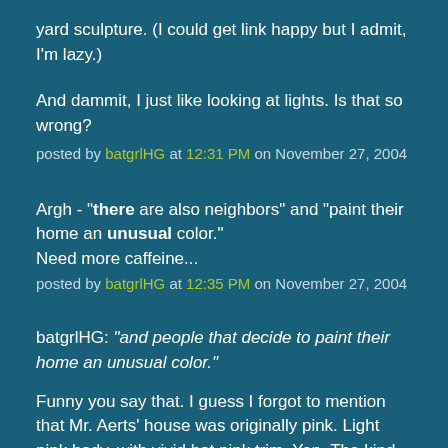yard sculpture. (I could get link happy but I admit, I'm lazy.)
And dammit, I just like looking at lights. Is that so wrong?
posted by batgrlHG at 12:31 PM on November 27, 2004
Argh - "there are also neighbors" and "paint their home an unusual color."
Need more caffeine...
posted by batgrlHG at 12:35 PM on November 27, 2004
batgrlHG: "and people that decide to paint their home an unusual color."
Funny you say that. I guess I forgot to mention that Mr. Aerts' house was originally pink. Light pink body, with vivid hot pink trim. Yep. The kind of color that would be tacky